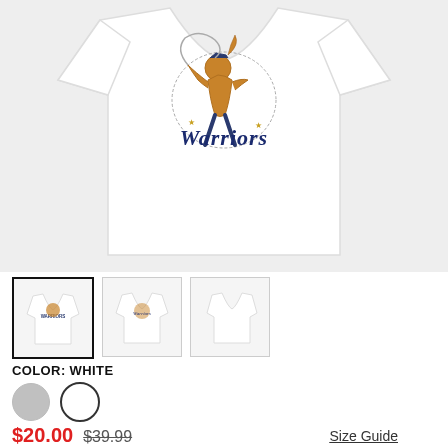[Figure (photo): White t-shirt with Warriors mascot logo printed on the chest, displayed on a light gray background]
[Figure (photo): Three thumbnail images of the Warriors t-shirt: front with logo, front zoomed out, and plain back view]
COLOR: WHITE
[Figure (other): Two color swatches: gray circle and white circle with black border]
$20.00 $39.99
Size Guide